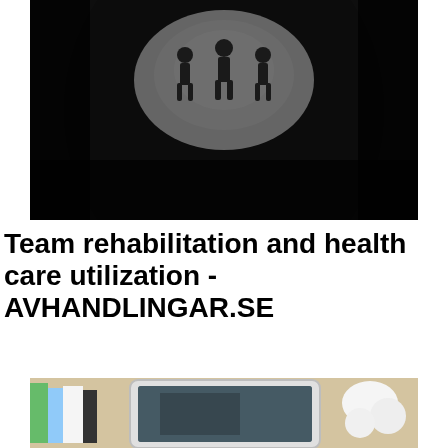[Figure (photo): Black and white photo of three silhouetted people walking through a dark tunnel toward a bright light at the end]
Team rehabilitation and health care utilization - AVHANDLINGAR.SE
[Figure (photo): Photo of a desk with a tablet/iPad, stack of books on the left, and a white lamp on the right, on a light wooden surface]